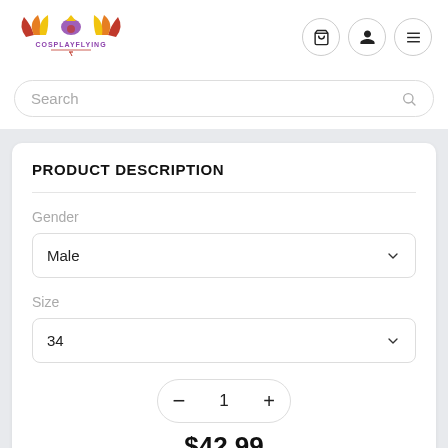[Figure (logo): CosplayFlying logo with colorful wings and bird/crown symbol]
Search
PRODUCT DESCRIPTION
Gender
Male
Size
34
1
$42.99